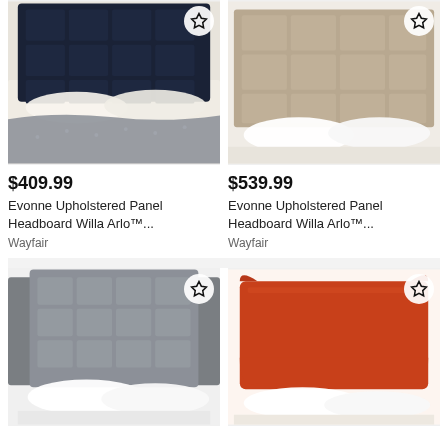[Figure (photo): Dark navy tufted panel headboard on a bed with gray blanket and cream bedding]
$409.99
Evonne Upholstered Panel Headboard Willa Arlo™...
Wayfair
[Figure (photo): Tan/beige tufted panel headboard on a bed with white bedding]
$539.99
Evonne Upholstered Panel Headboard Willa Arlo™...
Wayfair
[Figure (photo): Gray tufted wingback headboard on a bed with white bedding]
[Figure (photo): Orange/red upholstered headboard on a bed with white bedding]